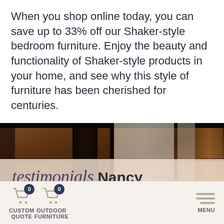When you shop online today, you can save up to 33% off our Shaker-style bedroom furniture. Enjoy the beauty and functionality of Shaker-style products in your home, and see why this style of furniture has been cherished for centuries.
[Figure (photo): Background photo of dark wood furniture (chairs, shelves) with a semi-transparent overlay panel containing 'testimonials Nancy' text in script and serif fonts, a 'How to Shop Our Website +' dark navy button, and 'Quality Crafts...' bold text.]
testimonials Nancy
How to Shop Our Website +
Quality Crafts
CUSTOM QUOTE
OUTDOOR FURNITURE
MENU